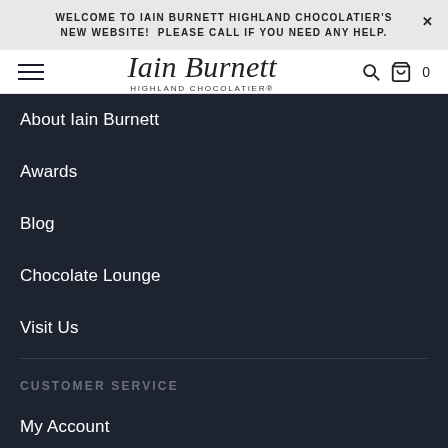WELCOME TO IAIN BURNETT HIGHLAND CHOCOLATIER'S NEW WEBSITE! PLEASE CALL IF YOU NEED ANY HELP.
[Figure (logo): Iain Burnett Highland Chocolatier script logo with hamburger menu, search icon, and cart icon showing 0 items]
About Iain Burnett
Awards
Blog
Chocolate Lounge
Visit Us
CUSTOMER SERVICE
My Account
Delivery
FAQs